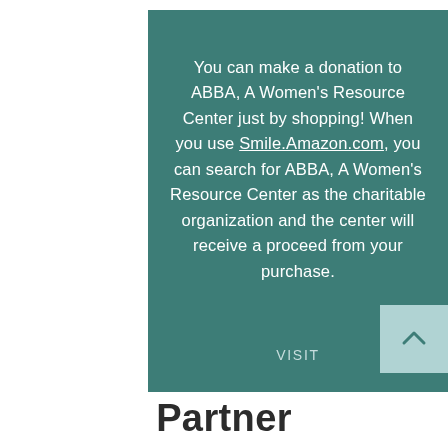You can make a donation to ABBA, A Women's Resource Center just by shopping!  When you use Smile.Amazon.com, you can search for ABBA, A Women's Resource Center as the charitable organization and the center will receive a proceed from your purchase.
VISIT
Partner